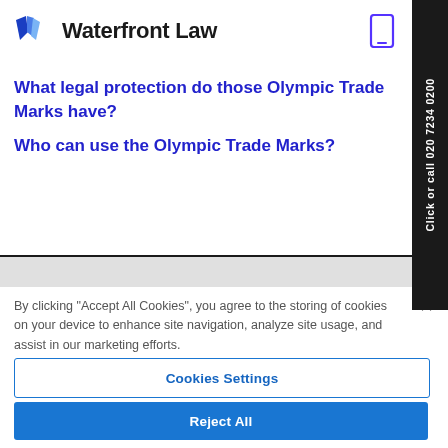[Figure (logo): Waterfront Law logo with blue shield/book icon and bold text]
What legal protection do those Olympic Trade Marks have?
Who can use the Olympic Trade Marks?
By clicking "Accept All Cookies", you agree to the storing of cookies on your device to enhance site navigation, analyze site usage, and assist in our marketing efforts.
Cookies Settings
Reject All